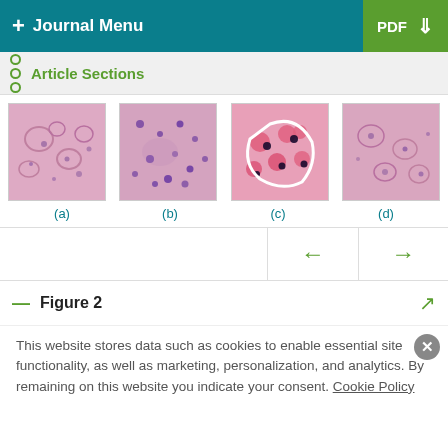+ Journal Menu | PDF ↓
Article Sections
[Figure (photo): Four histology microscopy images labeled (a), (b), (c), (d) showing kidney/liver tissue sections stained with H&E, appearing in pink and purple tones. Image (c) shows a white outlined region highlighting specific cells.]
(a)   (b)   (c)   (d)
Figure 2
This website stores data such as cookies to enable essential site functionality, as well as marketing, personalization, and analytics. By remaining on this website you indicate your consent. Cookie Policy